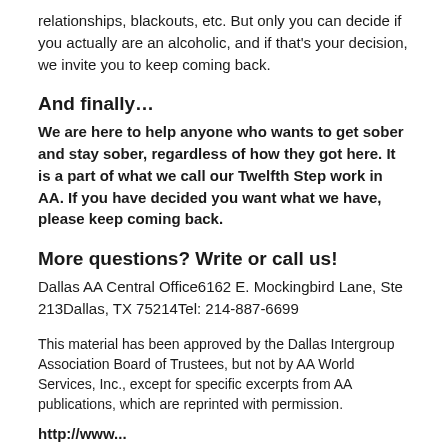relationships, blackouts, etc. But only you can decide if you actually are an alcoholic, and if that's your decision, we invite you to keep coming back.
And finally…
We are here to help anyone who wants to get sober and stay sober, regardless of how they got here. It is a part of what we call our Twelfth Step work in AA. If you have decided you want what we have, please keep coming back.
More questions? Write or call us!
Dallas AA Central Office6162 E. Mockingbird Lane, Ste 213Dallas, TX 75214Tel: 214-887-6699
This material has been approved by the Dallas Intergroup Association Board of Trustees, but not by AA World Services, Inc., except for specific excerpts from AA publications, which are reprinted with permission.
http://www...